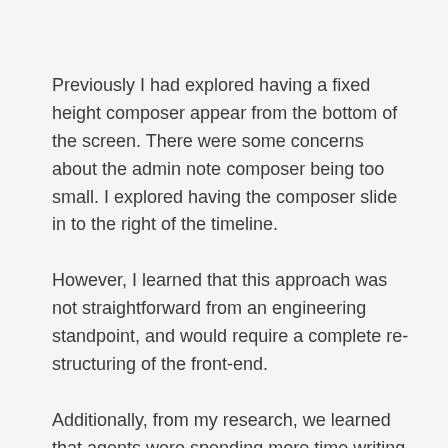Previously I had explored having a fixed height composer appear from the bottom of the screen. There were some concerns about the admin note composer being too small. I explored having the composer slide in to the right of the timeline.
However, I learned that this approach was not straightforward from an engineering standpoint, and would require a complete re-structuring of the front-end.
Additionally, from my research, we learned that agents were spending more time writing notes since the admin note composer was expandable in the old agent tools. We wanted to discourage agents from